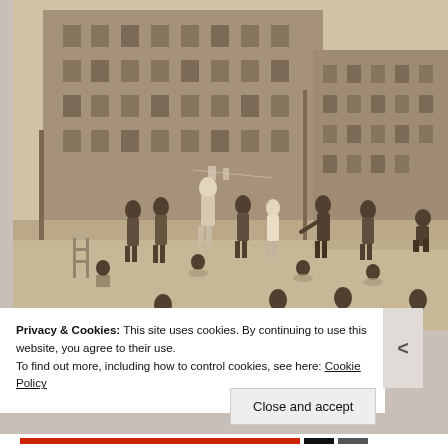[Figure (photo): Vintage black and white newspaper photograph showing children swimming and playing in an outdoor urban pool or wading area, with large multi-story brick apartment buildings visible in the background. Children are both in the water and standing around the pool edge. The image has a sepia/aged tone typical of mid-20th century newspaper photography.]
Privacy & Cookies: This site uses cookies. By continuing to use this website, you agree to their use.
To find out more, including how to control cookies, see here: Cookie Policy
Close and accept